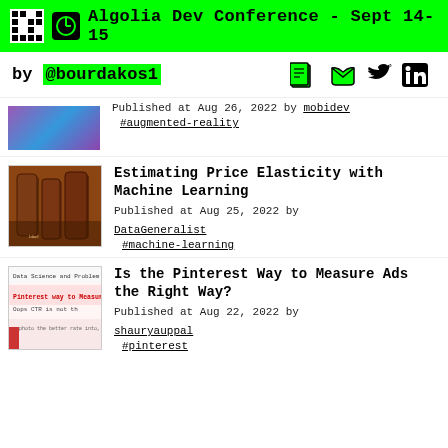Algolia Dev Conference - Sept 14-15
by @bourdakos1
Published at Aug 26, 2022 by mobidev #augmented-reality
Estimating Price Elasticity with Machine Learning
Published at Aug 25, 2022 by DataGeneralist #machine-learning
Is the Pinterest Way to Measure Ads the Right Way?
Published at Aug 22, 2022 by shauryauppal #pinterest